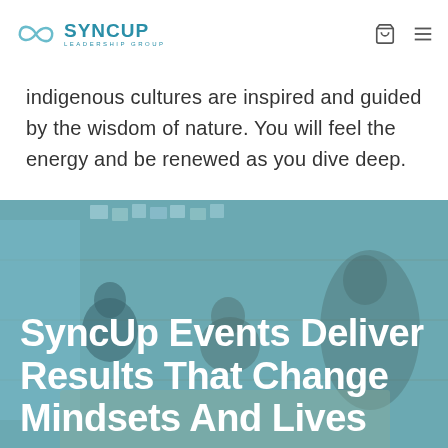SYNCUP LEADERSHIP GROUP
indigenous cultures are inspired and guided by the wisdom of nature. You will feel the energy and be renewed as you dive deep.
[Figure (photo): Group of people sitting around a table working together in a wooden room with sticky notes on the wall, overlaid with a teal/blue color wash]
SyncUp Events Deliver Results That Change Mindsets And Lives